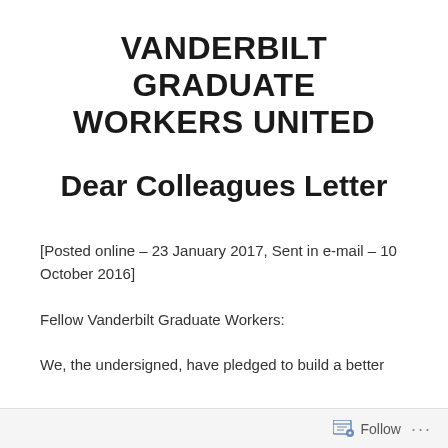VANDERBILT GRADUATE WORKERS UNITED
Dear Colleagues Letter
[Posted online – 23 January 2017, Sent in e-mail – 10 October 2016]
Fellow Vanderbilt Graduate Workers:
We, the undersigned, have pledged to build a better